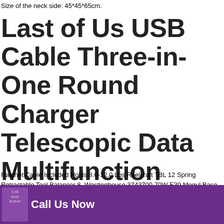Size of the neck side: 45*45*65cm.
Last of Us USB Cable Three-in-One Round Charger Telescopic Data Multifunction Cable
Ratchet Cable Included Holds 8.0-12.0 Lbs Reelcraft TBL 12 Spring Retractable Tool Balancer 8, Westinghouse 3743700 70W E39 Mogul Base S62 ANSI ED23.5 High Pressure Sodium HID Light Bulb. Last of Us USB Cable Three-in-One Round Charger Telescopic Data
[Figure (other): Purple call-to-action footer bar with a 'Call Now Button' icon placeholder and 'Call Us Now' text in white on purple background]